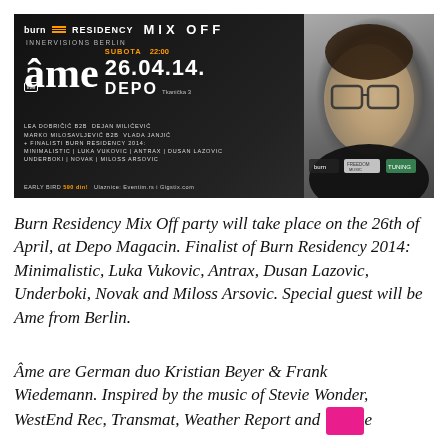[Figure (photo): Burn Residency Mix Off event banner. Dark background with white text. Shows 'burn RESIDENCY MIX OFF', 'INNERVISIONS BERLIN', large 'âme live' logo, date 26.04.14, time 22:00, venue DEPO Tkanicka 3, lineup including LEA DOBRICIC B2B DEJAN MILICEVIC, MARKO MILOSAVLJEVIC B2B VLADA JANJIC, + FINALISTI BURN RESIDENCY 2014, MINIMALISTIC, LUKA VUKOVIC, ANTRAX, DUSAN LAZOVIC, UNDERBOKI, NOVAK, MILOSS ARSOVIC. Early bird 590 din, Ulaznice: Eventim.rs i Gigstix.com. Right side shows photo of a man with glasses. Sponsor logos: burn, Freedom Music, Tuning.]
Burn Residency Mix Off party will take place on the 26th of April, at Depo Magacin. Finalist of Burn Residency 2014: Minimalistic, Luka Vukovic, Antrax, Dusan Lazovic, Underboki, Novak and Miloss Arsovic. Special guest will be Ame from Berlin.
Âme are German duo Kristian Beyer & Frank Wiedemann. Inspired by the music of Stevie Wonder, WestEnd Rec, Transmat, Weather Report and